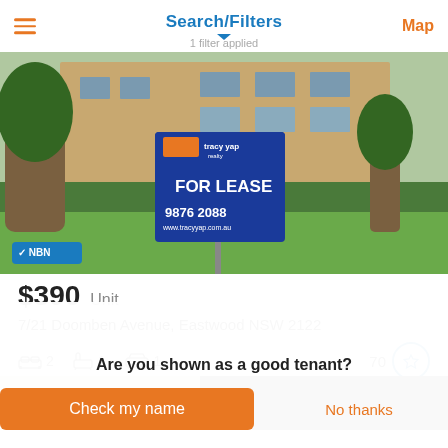Search/Filters
1 filter applied
[Figure (photo): Exterior photo of a residential apartment building with a blue 'FOR LEASE' sign from Tracy Yap Realty, showing the phone number 9876 2088 and website www.tracyyap.com.au. An NBN badge is shown in the bottom-left corner of the photo.]
$390  Unit
7/21 Doomben Avenue, Eastwood NSW 2122
2 bedrooms  1 bathroom  1 car space  70
[Figure (photo): Partial view of a second property listing image, partially obscured by the overlay.]
Are you shown as a good tenant?
Check my name
No thanks